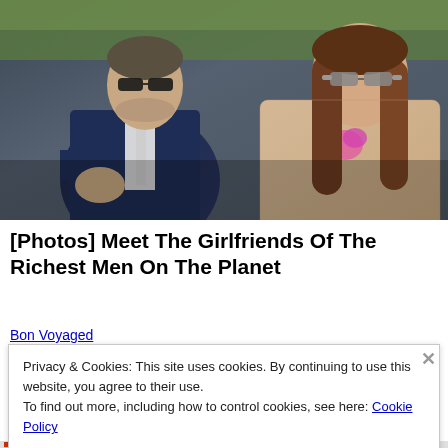[Figure (photo): Two people sitting in stadium seats. On the left, an older man wearing a dark navy suit and sunglasses, with a light-colored tie. On the right, a young woman with long brown hair, wearing sunglasses and a beige lace outfit with a pink floral accessory.]
[Photos] Meet The Girlfriends Of The Richest Men On The Planet
Bon Voyaged
Privacy & Cookies: This site uses cookies. By continuing to use this website, you agree to their use.
To find out more, including how to control cookies, see here: Cookie Policy
Close and accept